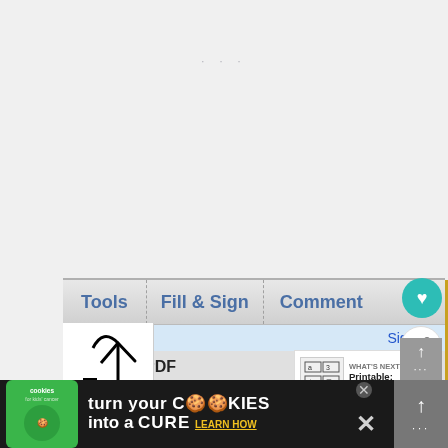[Figure (screenshot): Screenshot of Adobe Acrobat Reader interface showing Tools, Fill & Sign, and Comment toolbar tabs, with Sign In bar, Export PDF panel, and Adobe ExportPDF service description. Below is a cookie/cancer charity advertisement banner.]
Tools
Fill & Sign
Comment
Sign In
Export PDF
Adobe ExportPDF
Convert PDF files to Word or Excel online.
WHAT'S NEXT → Printable: Number Game
turn your COOKIES into a CURE LEARN HOW